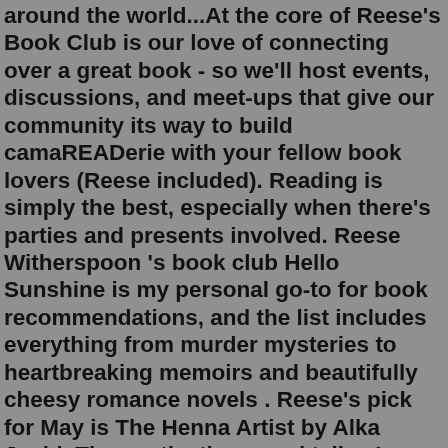around the world...At the core of Reese's Book Club is our love of connecting over a great book - so we'll host events, discussions, and meet-ups that give our community its way to build camaREADerie with your fellow book lovers (Reese included). Reading is simply the best, especially when there's parties and presents involved. Reese Witherspoon 's book club Hello Sunshine is my personal go-to for book recommendations, and the list includes everything from murder mysteries to heartbreaking memoirs and beautifully cheesy romance novels . Reese's pick for May is The Henna Artist by Alka Joshi. The captivating novel tells...In 2017, Reese Witherspoon launched a book club aimed at spotlighting and elevating the voices of women writers. As part of her media company Hello Sunshine, the actress announces a new selection every month and encourages discussion on Facebook and Instagram.Reese Witherspoon's latest book club pick. Reese excitedly unveils her 'Summer 2022 Book Club Pick'. Counterfit by Kirstin Chen. The Oscar-winning